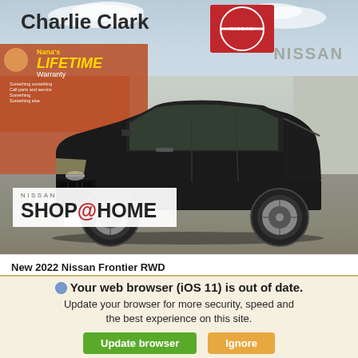[Figure (photo): Photo of a black 2022 Nissan Frontier RWD pickup truck parked in front of Charlie Clark Nissan dealership. The dealership has a red Nissan sign and Nana's Lifetime Warranty branding. A Nissan SHOP@HOME logo overlay is visible in the lower left of the photo.]
New 2022 Nissan Frontier RWD
Your web browser (iOS 11) is out of date. Update your browser for more security, speed and the best experience on this site.
Update browser
Ignore